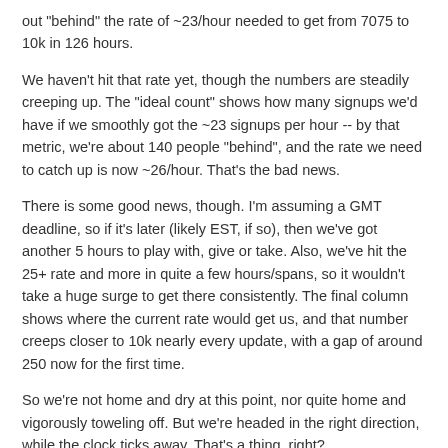out "behind" the rate of ~23/hour needed to get from 7075 to 10k in 126 hours.
We haven't hit that rate yet, though the numbers are steadily creeping up. The "ideal count" shows how many signups we'd have if we smoothly got the ~23 signups per hour -- by that metric, we're about 140 people "behind", and the rate we need to catch up is now ~26/hour. That's the bad news.
There is some good news, though. I'm assuming a GMT deadline, so if it's later (likely EST, if so), then we've got another 5 hours to play with, give or take. Also, we've hit the 25+ rate and more in quite a few hours/spans, so it wouldn't take a huge surge to get there consistently. The final column shows where the current rate would get us, and that number creeps closer to 10k nearly every update, with a gap of around 250 now for the first time.
So we're not home and dry at this point, nor quite home and vigorously toweling off. But we're headed in the right direction, while the clock ticks away. That's a thing, right?
[Figure (other): Reaction buttons: heart icon with count 2, trophy icon with count 5]